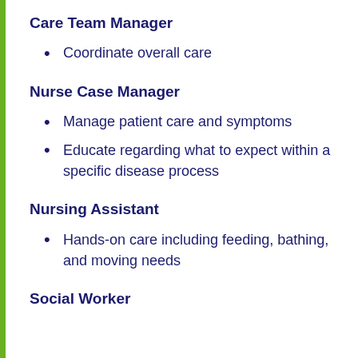Care Team Manager
Coordinate overall care
Nurse Case Manager
Manage patient care and symptoms
Educate regarding what to expect within a specific disease process
Nursing Assistant
Hands-on care including feeding, bathing, and moving needs
Social Worker